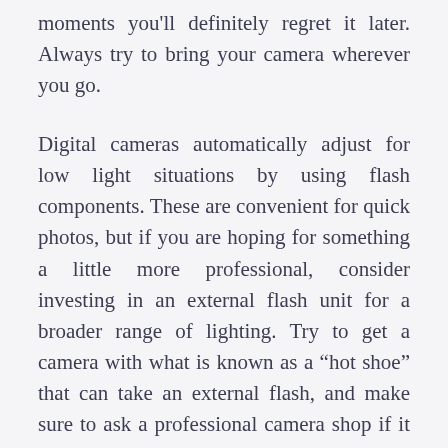moments you'll definitely regret it later. Always try to bring your camera wherever you go.
Digital cameras automatically adjust for low light situations by using flash components. These are convenient for quick photos, but if you are hoping for something a little more professional, consider investing in an external flash unit for a broader range of lighting. Try to get a camera with what is known as a "hot shoe" that can take an external flash, and make sure to ask a professional camera shop if it will sync with the camera.